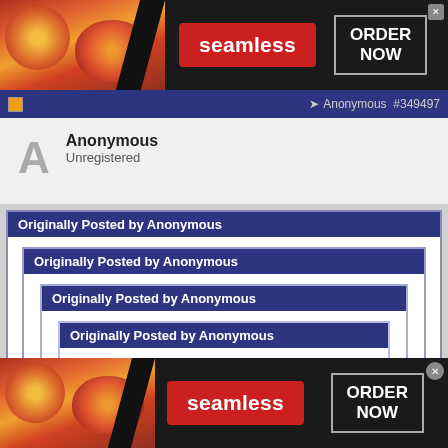[Figure (screenshot): Seamless food delivery advertisement banner with pizza images, red Seamless logo badge, and 'ORDER NOW' button on dark background]
Anonymous  #349497
Anonymous
Unregistered
Originally Posted by Anonymous
Originally Posted by Anonymous
Originally Posted by Anonymous
Originally Posted by Anonymous
So much for your prediction about the Jesters girl.
[Figure (screenshot): Seamless food delivery advertisement banner at bottom with pizza images, red Seamless logo badge, and 'ORDER NOW' button on dark background]